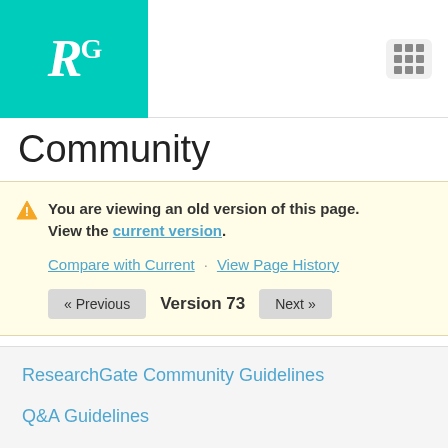RG [ResearchGate logo] Community
Community
⚠ You are viewing an old version of this page. View the current version.
Compare with Current · View Page History
« Previous  Version 73  Next »
ResearchGate Community Guidelines
Q&A Guidelines
Commenting Guidelines